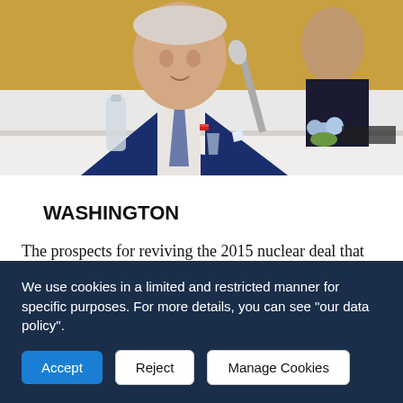[Figure (photo): A man in a navy blue suit and striped tie seated at a conference table, speaking into a microphone, with flowers and a water bottle on the table. Another person in a dark suit is visible in the background. The setting appears to be an official government meeting or summit.]
WASHINGTON
The prospects for reviving the 2015 nuclear deal that world powers struck with Iran are exceedingly dim, President Joe
We use cookies in a limited and restricted manner for specific purposes. For more details, you can see "our data policy".